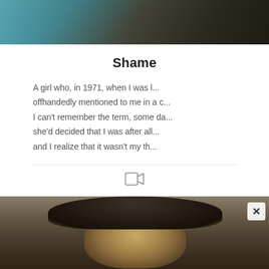[Figure (photo): Top portion of a photo showing a person in dark clothing against a teal/dark background]
Shame
A girl who, in 1971, when I was l...
offhandedly mentioned to me in a c...
I can't remember the term, some da...
she'd decided that I was after all...
and I realize that it wasn't my th...
[Figure (other): Video play icon (camera/video icon)]
[Figure (photo): Bottom portion showing a painting or photo of a woman with dark hair and a dark hat, looking upward]
[Figure (other): Advertisement banner: Hefty Slider bags - Close With Confidence]